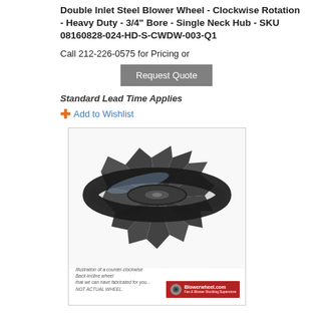Double Inlet Steel Blower Wheel - Clockwise Rotation - Heavy Duty - 3/4" Bore - Single Neck Hub - SKU 08160828-024-HD-S-CWDW-003-Q1
Call 212-226-0575 for Pricing or
Request Quote
Standard Lead Time Applies
Add to Wishlist
[Figure (photo): Photo of a double inlet steel blower wheel (centrifugal fan wheel) with dark grey/black finish, showing blades and hub. Includes small text note stating this is an illustration of a counter-clockwise back-incline wheel that can be fabricated, NOT ACTUAL WHEEL. Blowerwheel.com logo in bottom right.]
Double Inlet Steel Blower Wheel - Clockwise Rotation - Heavy Duty - 1-3/16" Bore - Single Neck Hub - SKU 08080828-106-HD-S-DICW-R-003-Q1